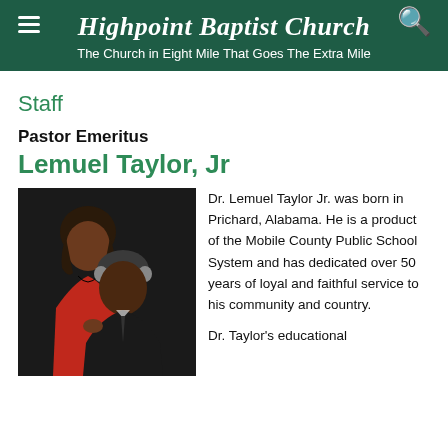Highpoint Baptist Church — The Church in Eight Mile That Goes The Extra Mile
Staff
Pastor Emeritus
Lemuel Taylor, Jr
[Figure (photo): Portrait photo of two people: a woman in a red jacket and a man in a dark suit, posed together against a dark background.]
Dr. Lemuel Taylor Jr. was born in Prichard, Alabama. He is a product of the Mobile County Public School System and has dedicated over 50 years of loyal and faithful service to his community and country.
Dr. Taylor's educational